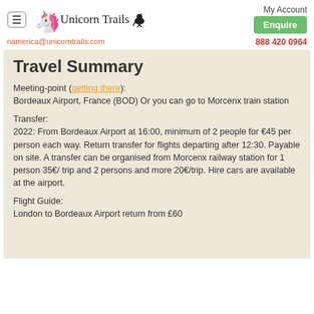Unicorn Trails | My Account | Enquire
namerica@unicorntrails.com  888 420 0964
Travel Summary
Meeting-point (getting there):
Bordeaux Airport, France (BOD) Or you can go to Morcenx train station
Transfer:
2022: From Bordeaux Airport at 16:00, minimum of 2 people for €45 per person each way. Return transfer for flights departing after 12:30. Payable on site. A transfer can be organised from Morcenx railway station for 1 person 35€/ trip and 2 persons and more 20€/trip. Hire cars are available at the airport.
Flight Guide:
London to Bordeaux Airport return from £60